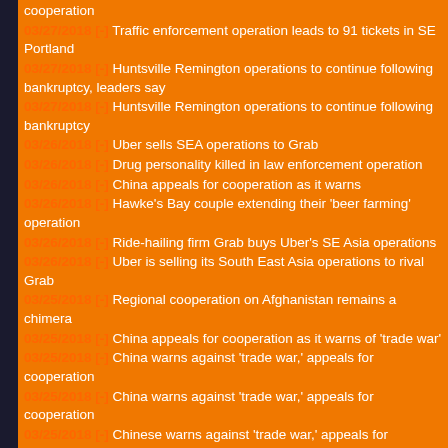cooperation
03/27/2018 [-] Traffic enforcement operation leads to 91 tickets in SE Portland
03/27/2018 [-] Huntsville Remington operations to continue following bankruptcy, leaders say
03/27/2018 [-] Huntsville Remington operations to continue following bankruptcy
03/26/2018 [-] Uber sells SEA operations to Grab
03/26/2018 [-] Drug personality killed in law enforcement operation
03/26/2018 [-] China appeals for cooperation as it warns
03/26/2018 [-] Hawke's Bay couple extending their 'beer farming' operation
03/26/2018 [-] Ride-hailing firm Grab buys Uber's SE Asia operations
03/26/2018 [-] Uber is selling its South East Asia operations to rival Grab
03/25/2018 [-] Regional cooperation on Afghanistan remains a chimera
03/25/2018 [-] China appeals for cooperation as it warns of 'trade war'
03/25/2018 [-] China warns against 'trade war,' appeals for cooperation
03/25/2018 [-] China warns against 'trade war,' appeals for cooperation
03/25/2018 [-] Chinese warns against 'trade war,' appeals for cooperation
03/25/2018 [-] A rare life-sized, operational replica of a Spitfire is under construction
03/25/2018 [-] Afrin operation in line with international law
03/25/2018 [-] Arnaud Beltrame had been decorated for his bravery